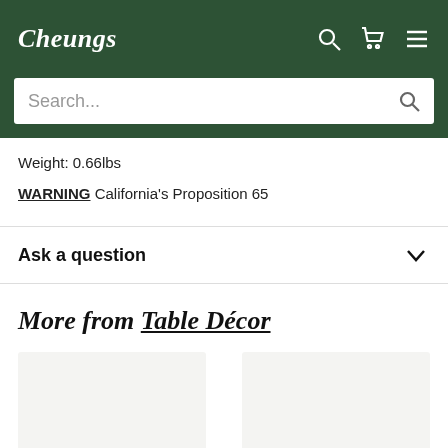Cheungs
Search...
Weight: 0.66lbs
WARNING California's Proposition 65
Ask a question
More from Table Décor
[Figure (photo): Two product image placeholder cards for Table Décor items]